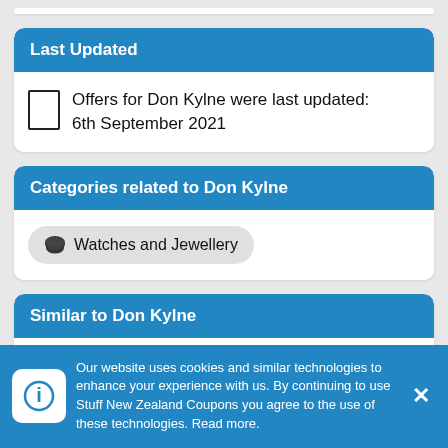Last Updated
Offers for Don Kylne were last updated: 6th September 2021
Categories related to Don Kylne
Watches and Jewellery
Similar to Don Kylne
Our website uses cookies and similar technologies to enhance your experience with us. By continuing to use Stuff New Zealand Coupons you agree to the use of these technologies. Read more.